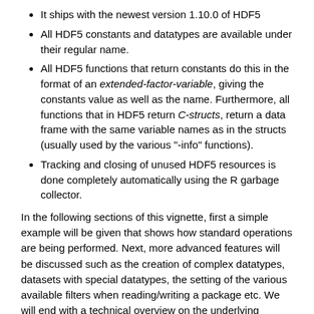It ships with the newest version 1.10.0 of HDF5
All HDF5 constants and datatypes are available under their regular name.
All HDF5 functions that return constants do this in the format of an extended-factor-variable, giving the constants value as well as the name. Furthermore, all functions that in HDF5 return C-structs, return a data frame with the same variable names as in the structs (usually used by the various "-info" functions).
Tracking and closing of unused HDF5 resources is done completely automatically using the R garbage collector.
In the following sections of this vignette, first a simple example will be given that shows how standard operations are being performed. Next, more advanced features will be discussed such as the creation of complex datatypes, datasets with special datatypes, the setting of the various available filters when reading/writing a package etc. We will end with a technical overview on the underlying implementation.
A simple example
As an introduction on how to use it, let us set up a very simple usage example. We will create a file, some groups in it as well as datasets of different types. We will see how the data is stored and later how to read it back.